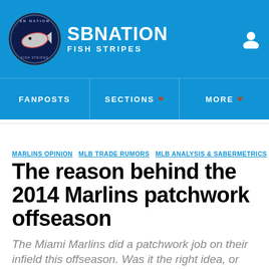SB NATION FISH STRIPES
FANPOSTS | SECTIONS | MORE
MARLINS OPINION  MLB TRADE RUMORS  MLB ANALYSIS & SABERMETRICS
The reason behind the 2014 Marlins patchwork offseason
The Miami Marlins did a patchwork job on their infield this offseason. Was it the right idea, or could they have done more?
By Michael Jong | Feb 10, 2014, 4:01pm EST
SHARE